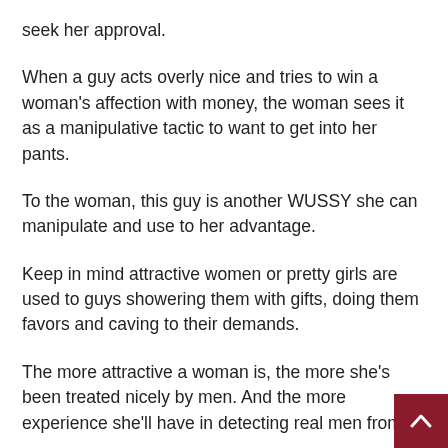seek her approval.
When a guy acts overly nice and tries to win a woman's affection with money, the woman sees it as a manipulative tactic to want to get into her pants.
To the woman, this guy is another WUSSY she can manipulate and use to her advantage.
Keep in mind attractive women or pretty girls are used to guys showering them with gifts, doing them favors and caving to their demands.
The more attractive a woman is, the more she's been treated nicely by men. And the more experience she'll have in detecting real men from